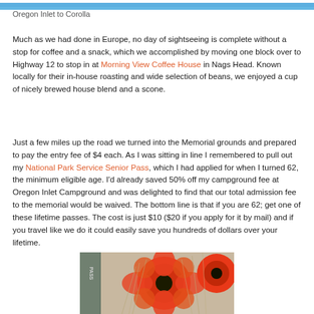[Figure (map): Blue map strip at the top of the page showing a partial map]
Oregon Inlet to Corolla
Much as we had done in Europe, no day of sightseeing is complete without a stop for coffee and a snack, which we accomplished by moving one block over to Highway 12 to stop in at Morning View Coffee House in Nags Head. Known locally for their in-house roasting and wide selection of beans, we enjoyed a cup of nicely brewed house blend and a scone.
Just a few miles up the road we turned into the Memorial grounds and prepared to pay the entry fee of $4 each. As I was sitting in line I remembered to pull out my National Park Service Senior Pass, which I had applied for when I turned 62, the minimum eligible age. I'd already saved 50% off my campground fee at Oregon Inlet Campground and was delighted to find that our total admission fee to the memorial would be waived. The bottom line is that if you are 62; get one of these lifetime passes. The cost is just $10 ($20 if you apply for it by mail) and if you travel like we do it could easily save you hundreds of dollars over your lifetime.
[Figure (photo): Photo of red/orange flowers (poppies) with a National Park Service Senior Pass card visible on the left side]